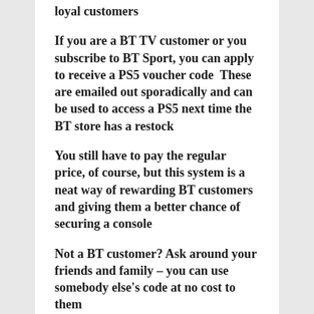loyal customers
If you are a BT TV customer or you subscribe to BT Sport, you can apply to receive a PS5 voucher code  These are emailed out sporadically and can be used to access a PS5 next time the BT store has a restock
You still have to pay the regular price, of course, but this system is a neat way of rewarding BT customers and giving them a better chance of securing a console
Not a BT customer? Ask around your friends and family – you can use somebody else's code at no cost to them